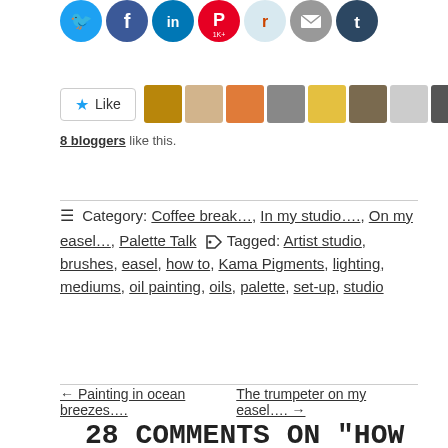[Figure (other): Row of social sharing icons: Twitter (blue), Facebook (blue), LinkedIn (blue), Pinterest (red, 1K+), Reddit (light blue), Email (gray), Tumblr (dark blue)]
[Figure (other): WordPress Like button and row of 7 blogger avatar thumbnails]
8 bloggers like this.
Category: Coffee break…, In my studio…., On my easel…, Palette Talk  Tagged: Artist studio, brushes, easel, how to, Kama Pigments, lighting, mediums, oil painting, oils, palette, set-up, studio
← Painting in ocean breezes….    The trumpeter on my easel…. →
28 COMMENTS ON "HOW TO SET-UP AN OIL PAINTING